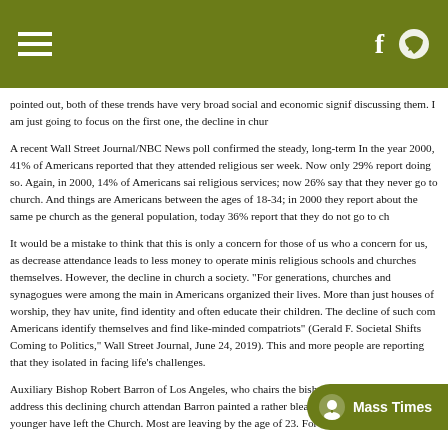[Navigation header with hamburger menu and icons]
pointed out, both of these trends have very broad social and economic signif discussing them. I am just going to focus on the first one, the decline in chur
A recent Wall Street Journal/NBC News poll confirmed the steady, long-term In the year 2000, 41% of Americans reported that they attended religious ser week. Now only 29% report doing so. Again, in 2000, 14% of Americans sai religious services; now 26% say that they never go to church. And things are Americans between the ages of 18-34; in 2000 they report about the same pe church as the general population, today 36% report that they do not go to ch
It would be a mistake to think that this is only a concern for those of us who a concern for us, as decrease attendance leads to less money to operate minis religious schools and churches themselves. However, the decline in church a society. “For generations, churches and synagogues were among the main in Americans organized their lives. More than just houses of worship, they hav unite, find identity and often educate their children. The decline of such com Americans identify themselves and find like-minded compatriots” (Gerald F. Societal Shifts Coming to Politics,” Wall Street Journal, June 24, 2019). This and more people are reporting that they isolated in facing life’s challenges.
Auxiliary Bishop Robert Barron of Los Angeles, who chairs the bishops’ Co Catechesis, address this declining church attendan Barron painted a rather bleak picture as his researc younger have left the Church. Most are leaving by the age of 23. For every